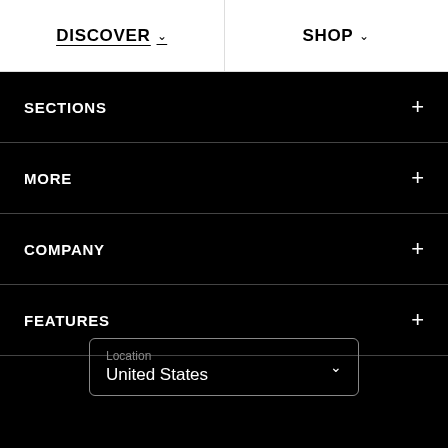DISCOVER  SHOP
SECTIONS +
MORE +
COMPANY +
FEATURES +
Location
United States